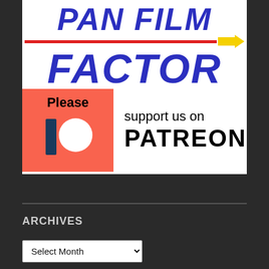[Figure (logo): Pan Film Factor logo with 'PAN FILM' in bold italic blue, a red horizontal line with yellow arrow, 'FACTOR' in bold italic blue, and below a Patreon support banner: orange/coral square with 'Please' and Patreon icon, white area with 'support us on PATREON' text.]
ARCHIVES
Select Month